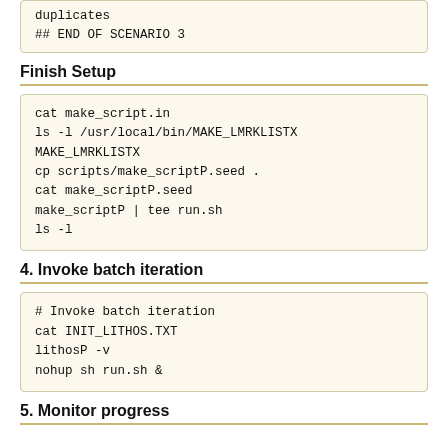duplicates
## END OF SCENARIO 3
Finish Setup
cat make_script.in
ls -l /usr/local/bin/MAKE_LMRKLISTX
MAKE_LMRKLISTX
cp scripts/make_scriptP.seed .
cat make_scriptP.seed
make_scriptP | tee run.sh
ls -l
4. Invoke batch iteration
# Invoke batch iteration
cat INIT_LITHOS.TXT
lithosP -v
nohup sh run.sh &
5. Monitor progress